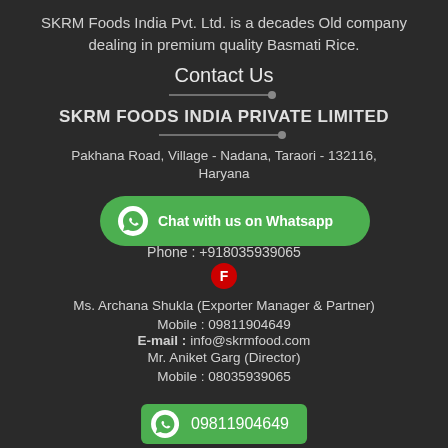SKRM Foods India Pvt. Ltd. is a decades Old company dealing in premium quality Basmati Rice.
Contact Us
SKRM FOODS INDIA PRIVATE LIMITED
Pakhana Road, Village - Nadana, Taraori - 132116, Haryana
[Figure (infographic): Green WhatsApp chat button with icon and text: Chat with us on Whatsapp]
Phone : +918035939065
[Figure (logo): Red circular badge with letter F (Facebook-style icon)]
Ms. Archana Shukla (Exporter Manager & Partner)
Mobile : 09811904649
E-mail : info@skrmfood.com
Mr. Aniket Garg (Director)
Mobile : 08035939065
[Figure (infographic): Green WhatsApp icon with phone number 09811904649]